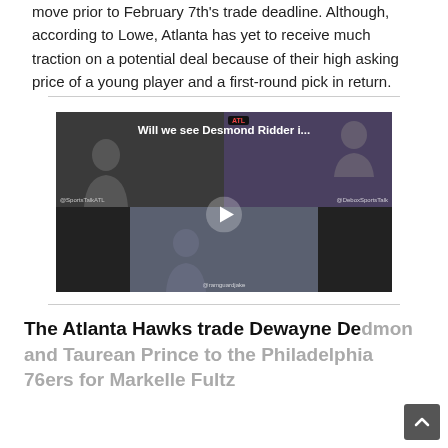move prior to February 7th's trade deadline. Although, according to Lowe, Atlanta has yet to receive much traction on a potential deal because of their high asking price of a young player and a first-round pick in return.
[Figure (screenshot): Video thumbnail showing three panels: top-left shows a man in dark clothing, top-right shows a person with a hat in front of an ATL sports backdrop, bottom-center shows another person. Title overlay reads 'Will we see Desmond Ridder i...' with a play button in the center.]
The Atlanta Hawks trade Dewayne Dedmon and Taurean Prince to the Philadelphia 76ers for Markelle Fultz